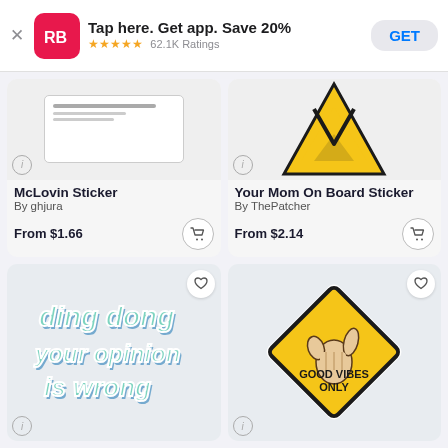[Figure (screenshot): App Store banner: RB logo, 'Tap here. Get app. Save 20%', 5 stars, 62.1K Ratings, GET button]
McLovin Sticker
By ghjura
From $1.66
Your Mom On Board Sticker
By ThePatcher
From $2.14
[Figure (photo): Sticker with retro text: ding dong your opinion is wrong]
[Figure (photo): Yellow diamond road sign with shaka hand gesture and text GOOD VIBES ONLY]